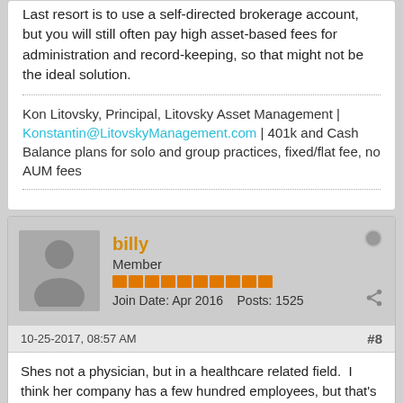Last resort is to use a self-directed brokerage account, but you will still often pay high asset-based fees for administration and record-keeping, so that might not be the ideal solution.
Kon Litovsky, Principal, Litovsky Asset Management | Konstantin@LitovskyManagement.com | 401k and Cash Balance plans for solo and group practices, fixed/flat fee, no AUM fees
billy
Member
Join Date: Apr 2016    Posts: 1525
10-25-2017, 08:57 AM
#8
Shes not a physician, but in a healthcare related field.  I think her company has a few hundred employees, but that's just an educated guess.  She is an employee, not in management nor is she a partner.